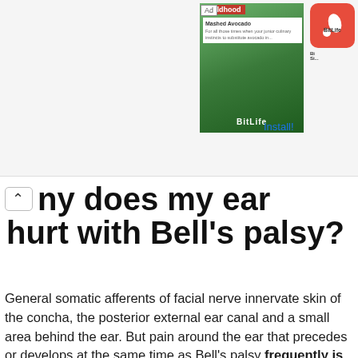[Figure (screenshot): Advertisement banner showing BitLife app promotional content with 'Childhood' themed imagery and BitLife logo with Install button]
Why does my ear hurt with Bell's palsy?
General somatic afferents of facial nerve innervate skin of the concha, the posterior external ear canal and a small area behind the ear. But pain around the ear that precedes or develops at the same time as Bell's palsy frequently is beyond the territory of sensory innervations of facial nerve.